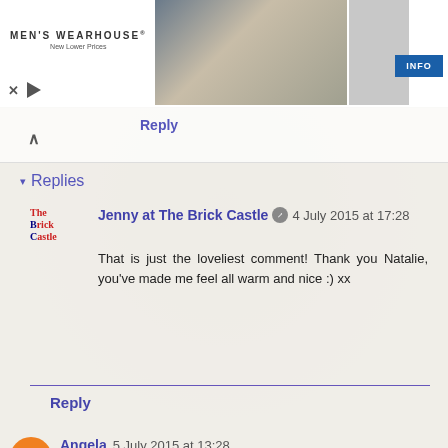[Figure (screenshot): Men's Wearhouse advertisement banner with couple in formal wear and suit photo]
Reply
▾ Replies
Jenny at The Brick Castle  4 July 2015 at 17:28
That is just the loveliest comment! Thank you Natalie, you've made me feel all warm and nice :) xx
Reply
Angela  5 July 2015 at 13:28
Brilliant! I'll bet the kids have great fun designing the rabbitat for the bunnies.
Reply